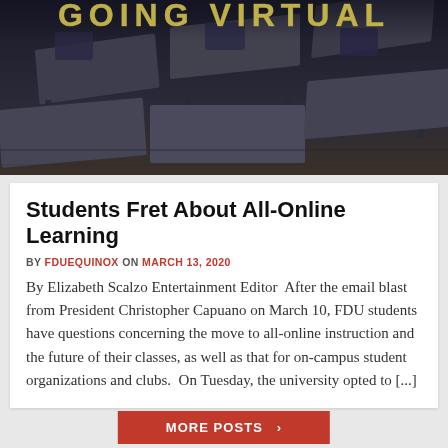[Figure (photo): Dark photograph of empty classroom desks/chairs arranged in rows with text overlay 'GOING VIRTUAL' in teal/gold letters at the top]
Students Fret About All-Online Learning
BY FDUEQUINOX ON MARCH 13, 2020
By Elizabeth Scalzo Entertainment Editor  After the email blast from President Christopher Capuano on March 10, FDU students have questions concerning the move to all-online instruction and the future of their classes, as well as that for on-campus student organizations and clubs.  On Tuesday, the university opted to [...]
MORE POSTS